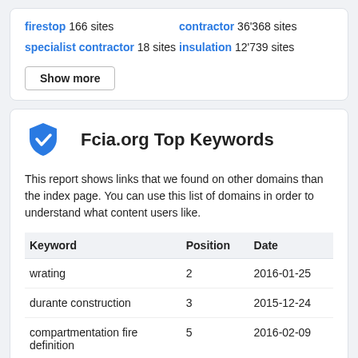firestop 166 sites   contractor 36'368 sites   specialist contractor 18 sites   insulation 12'739 sites
Show more
Fcia.org Top Keywords
This report shows links that we found on other domains than the index page. You can use this list of domains in order to understand what content users like.
| Keyword | Position | Date |
| --- | --- | --- |
| wrating | 2 | 2016-01-25 |
| durante construction | 3 | 2015-12-24 |
| compartmentation fire definition | 5 | 2016-02-09 |
| barq construction qatar | 6 | 2016-01-12 |